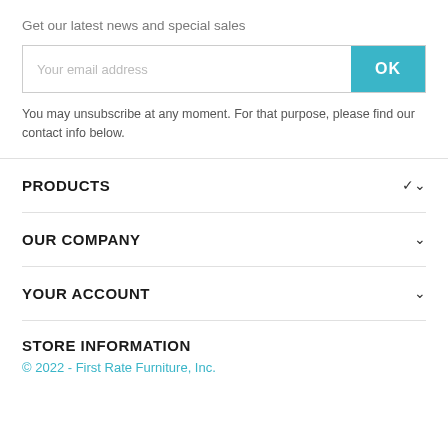Get our latest news and special sales
Your email address
OK
You may unsubscribe at any moment. For that purpose, please find our contact info below.
PRODUCTS
OUR COMPANY
YOUR ACCOUNT
STORE INFORMATION
© 2022 - First Rate Furniture, Inc.